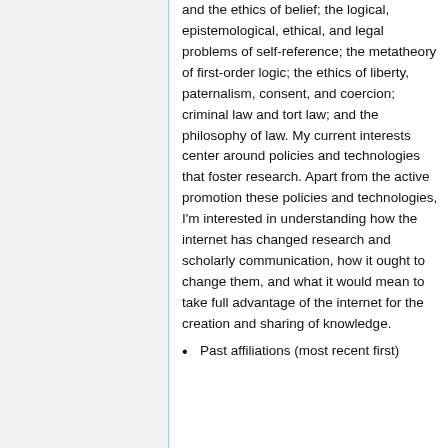and the ethics of belief; the logical, epistemological, ethical, and legal problems of self-reference; the metatheory of first-order logic; the ethics of liberty, paternalism, consent, and coercion; criminal law and tort law; and the philosophy of law. My current interests center around policies and technologies that foster research. Apart from the active promotion these policies and technologies, I'm interested in understanding how the internet has changed research and scholarly communication, how it ought to change them, and what it would mean to take full advantage of the internet for the creation and sharing of knowledge.
Past affiliations (most recent first)